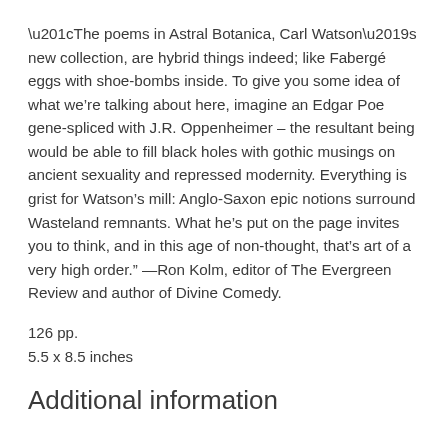“The poems in Astral Botanica, Carl Watson’s new collection, are hybrid things indeed; like Fabergé eggs with shoe-bombs inside. To give you some idea of what we’re talking about here, imagine an Edgar Poe gene-spliced with J.R. Oppenheimer – the resultant being would be able to fill black holes with gothic musings on ancient sexuality and repressed modernity. Everything is grist for Watson’s mill: Anglo-Saxon epic notions surround Wasteland remnants. What he’s put on the page invites you to think, and in this age of non-thought, that’s art of a very high order.” —Ron Kolm, editor of The Evergreen Review and author of Divine Comedy.
126 pp.
5.5 x 8.5 inches
Additional information